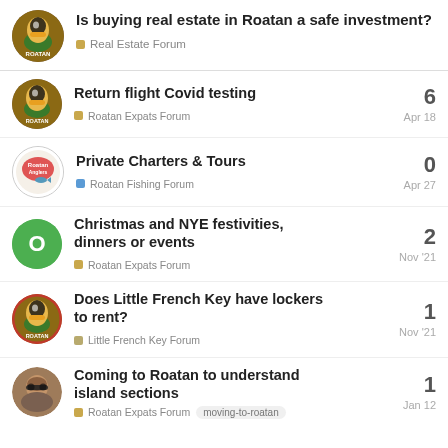Is buying real estate in Roatan a safe investment? Real Estate Forum
Return flight Covid testing | Roatan Expats Forum | 6 replies | Apr 18
Private Charters & Tours | Roatan Fishing Forum | 0 replies | Apr 27
Christmas and NYE festivities, dinners or events | Roatan Expats Forum | 2 replies | Nov '21
Does Little French Key have lockers to rent? | Little French Key Forum | 1 reply | Nov '21
Coming to Roatan to understand island sections | Roatan Expats Forum | moving-to-roatan | 1 reply | Jan 12